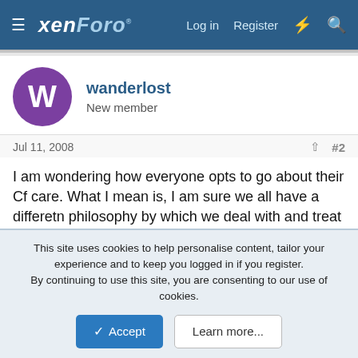xenForo  Log in  Register  #  Search
wanderlost
New member
Jul 11, 2008  #2
I am wondering how everyone opts to go about their Cf care. What I mean is, I am sure we all have a differetn philosophy by which we deal with and treat Cf. For example: do you trust your doctor inherently and do everything s/he suggests; are you aggressive or do you tend to wait things out; do you prefer to try natural remedies before going to meds; are you eager to try new things or do you stick with the tried and true, etc.?
This site uses cookies to help personalise content, tailor your experience and to keep you logged in if you register.
By continuing to use this site, you are consenting to our use of cookies.
Accept  Learn more...